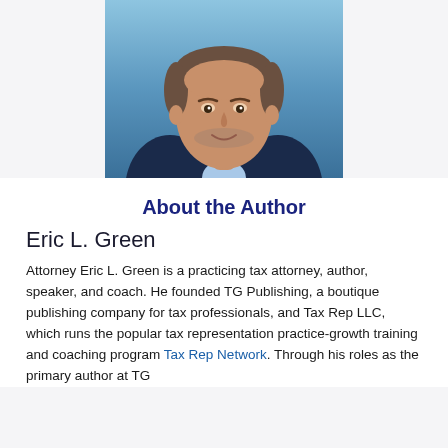[Figure (photo): Headshot of Eric L. Green, a middle-aged man with short gray-brown hair and beard stubble, wearing a navy blazer and light blue collared shirt, smiling, with a blue gradient background.]
About the Author
Eric L. Green
Attorney Eric L. Green is a practicing tax attorney, author, speaker, and coach. He founded TG Publishing, a boutique publishing company for tax professionals, and Tax Rep LLC, which runs the popular tax representation practice-growth training and coaching program Tax Rep Network. Through his roles as the primary author at TG